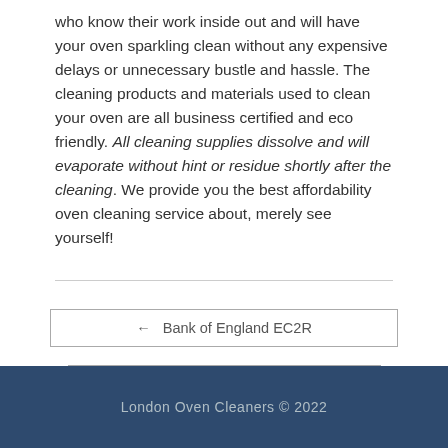who know their work inside out and will have your oven sparkling clean without any expensive delays or unnecessary bustle and hassle. The cleaning products and materials used to clean your oven are all business certified and eco friendly. All cleaning supplies dissolve and will evaporate without hint or residue shortly after the cleaning. We provide you the best affordability oven cleaning service about, merely see yourself!
← Bank of England EC2R
Fetter Lane EC4A →
London Oven Cleaners © 2022